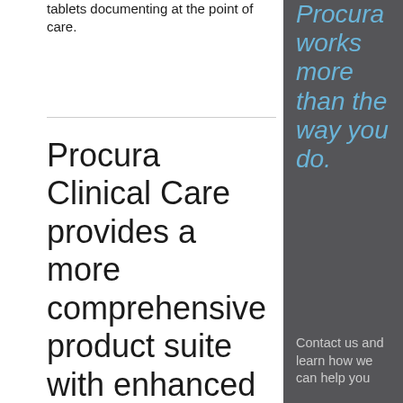tablets documenting at the point of care.
Procura Clinical Care provides a more comprehensive product suite with enhanced functionality and superior user
Procura works more than the way you do.
Contact us and learn how we can help you